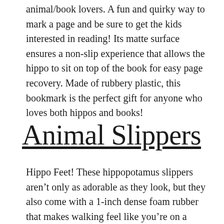animal/book lovers. A fun and quirky way to mark a page and be sure to get the kids interested in reading! Its matte surface ensures a non-slip experience that allows the hippo to sit on top of the book for easy page recovery. Made of rubbery plastic, this bookmark is the perfect gift for anyone who loves both hippos and books!
Animal Slippers
Hippo Feet! These hippopotamus slippers aren't only as adorable as they look, but they also come with a 1-inch dense foam rubber that makes walking feel like you're on a cloud. Rest assured, comfort is key with these hippos. Keep your feet